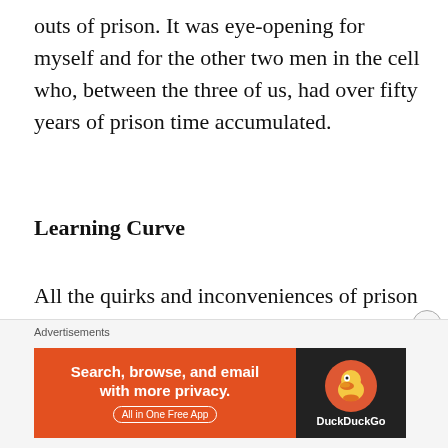outs of prison. It was eye-opening for myself and for the other two men in the cell who, between the three of us, had over fifty years of prison time accumulated.
Learning Curve
All the quirks and inconveniences of prison and communal living that we three had taken for granted for years had to be taught and explained to the elderly Mexican whose English was functional, but only barely. It was occasionally frustrating because sometimes the
Advertisements
[Figure (other): DuckDuckGo advertisement banner: orange left panel with text 'Search, browse, and email with more privacy. All in One Free App' and dark right panel with DuckDuckGo duck logo and brand name.]